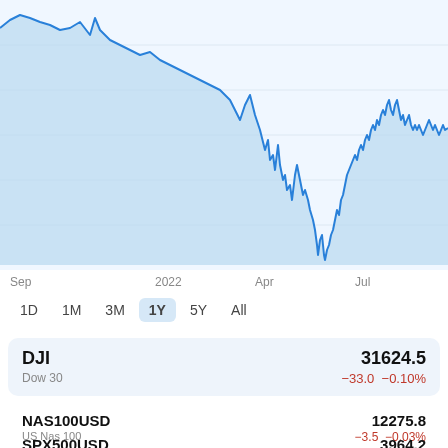[Figure (continuous-plot): 1-year area/line chart of DJI (Dow Jones) index from Sep 2021 to Jul 2022, showing a decline from around Sep–Jan levels, a sharp drop around Jul 2022, and partial recovery. Blue filled area chart with blue line.]
Sep   2022   Apr   Jul
1D  1M  3M  1Y  5Y  All
| Ticker | Name | Price | Change |
| --- | --- | --- | --- |
| DJI | Dow 30 | 31624.5 | −33.0  −0.10% |
| NAS100USD | US Nas 100 | 12275.8 | −3.5  −0.03% |
| SPX500USD |  | 3964.2 |  |